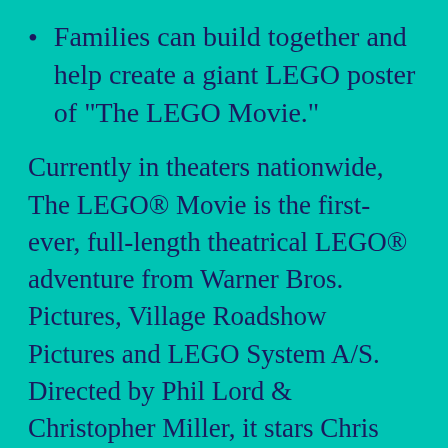Families can build together and help create a giant LEGO poster of “The LEGO Movie.”
Currently in theaters nationwide, The LEGO® Movie is the first-ever, full-length theatrical LEGO® adventure from Warner Bros. Pictures, Village Roadshow Pictures and LEGO System A/S. Directed by Phil Lord & Christopher Miller, it stars Chris Pratt, Will Ferrell, Elizabeth Banks, Will Arnett, Nick Offerman,Alison Brie and Charlie Day, with Liam Neeson and Morgan